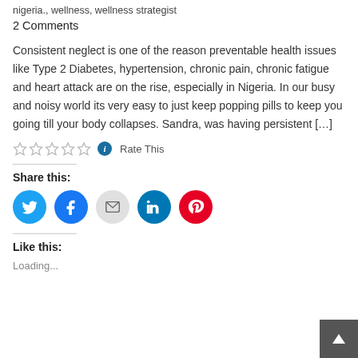nigeria., wellness, wellness strategist
2 Comments
Consistent neglect is one of the reason preventable health issues like Type 2 Diabetes, hypertension, chronic pain, chronic fatigue and heart attack are on the rise, especially in Nigeria. In our busy and noisy world its very easy to just keep popping pills to keep you going till your body collapses. Sandra, was having persistent [...]
[Figure (other): Star rating widget (5 empty stars) with info icon and 'Rate This' text]
Share this:
[Figure (other): Social share buttons: Twitter (blue), Facebook (blue), Email (grey), LinkedIn (dark blue), Pinterest (red)]
Like this:
Loading...